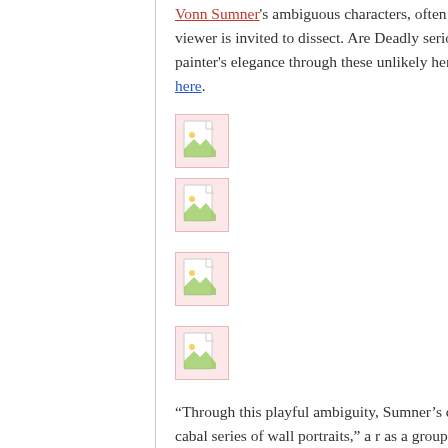Vonn Sumner's ambiguous characters, often seen in makes ongoing narrative that the viewer is invited to dissect. Are Deadly serious vigilantes? What is obvious is the painter's elegance through these unlikely heroes. Sumner was last fe HiFructose.com here.
[Figure (other): Broken image placeholder icon (pink/red border, small document icon with landscape symbol)]
[Figure (other): Broken image placeholder icon (pink/red border, small document icon with landscape symbol)]
[Figure (other): Broken image placeholder icon (pink/red border, small document icon with landscape symbol)]
[Figure (other): Broken image placeholder icon (pink/red border, small document icon with landscape symbol)]
“Through this playful ambiguity, Sumner’s cast of charact narratives, as seen in the cabal series of wall portraits,” a r as a group of people united in some close design together, views or interests, often through intrigue and in secret. Thi societies, although Sumner’s series of portraits are more hu sinister.”